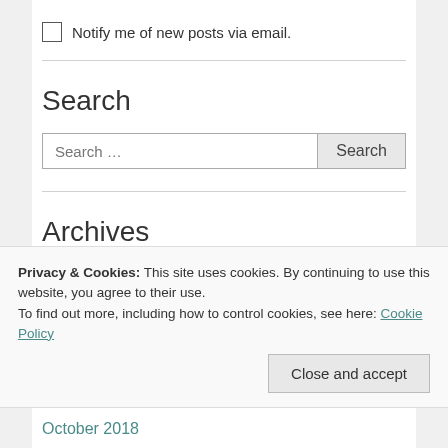Notify me of new posts via email.
Search
Search …
Archives
January 2020
Privacy & Cookies: This site uses cookies. By continuing to use this website, you agree to their use.
To find out more, including how to control cookies, see here: Cookie Policy
Close and accept
October 2018